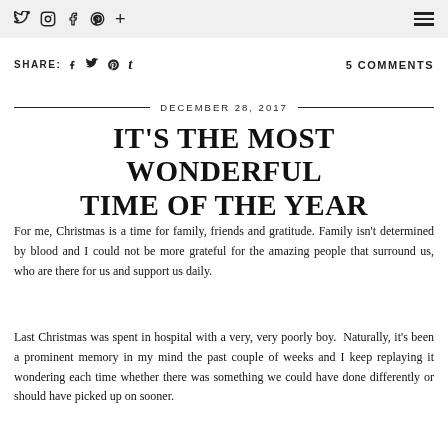Twitter Instagram Facebook Pinterest Plus | Menu
SHARE: f y p t   5 COMMENTS
DECEMBER 28, 2017
IT'S THE MOST WONDERFUL TIME OF THE YEAR
For me, Christmas is a time for family, friends and gratitude. Family isn't determined by blood and I could not be more grateful for the amazing people that surround us, who are there for us and support us daily.
Last Christmas was spent in hospital with a very, very poorly boy.  Naturally, it's been a prominent memory in my mind the past couple of weeks and I keep replaying it wondering each time whether there was something we could have done differently or should have picked up on sooner.